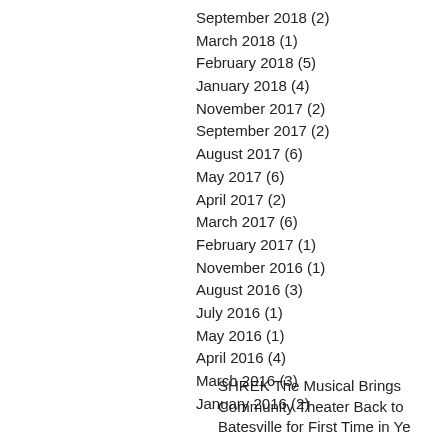September 2018 (2)
March 2018 (1)
February 2018 (5)
January 2018 (4)
November 2017 (2)
September 2017 (2)
August 2017 (6)
May 2017 (6)
April 2017 (2)
March 2017 (6)
February 2017 (1)
November 2016 (1)
August 2016 (3)
July 2016 (1)
May 2016 (1)
April 2016 (4)
March 2016 (3)
January 2016 (2)
SHREK The Musical Brings Community Theater Back to Batesville for First Time in Years